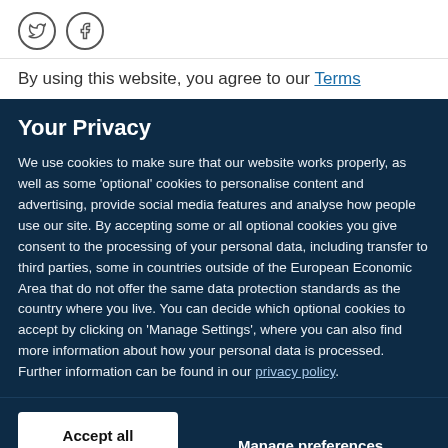[Figure (logo): Twitter and Facebook social media icon circles]
By using this website, you agree to our Terms
Your Privacy
We use cookies to make sure that our website works properly, as well as some 'optional' cookies to personalise content and advertising, provide social media features and analyse how people use our site. By accepting some or all optional cookies you give consent to the processing of your personal data, including transfer to third parties, some in countries outside of the European Economic Area that do not offer the same data protection standards as the country where you live. You can decide which optional cookies to accept by clicking on 'Manage Settings', where you can also find more information about how your personal data is processed. Further information can be found in our privacy policy.
Accept all cookies
Manage preferences